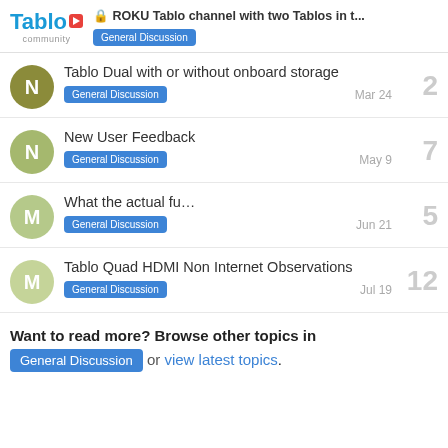ROKU Tablo channel with two Tablos in t... — General Discussion
Tablo Dual with or without onboard storage — General Discussion — 2 — Mar 24
New User Feedback — General Discussion — 7 — May 9
What the actual fu... — General Discussion — 5 — Jun 21
Tablo Quad HDMI Non Internet Observations — General Discussion — 12 — Jul 19
Want to read more? Browse other topics in General Discussion or view latest topics.